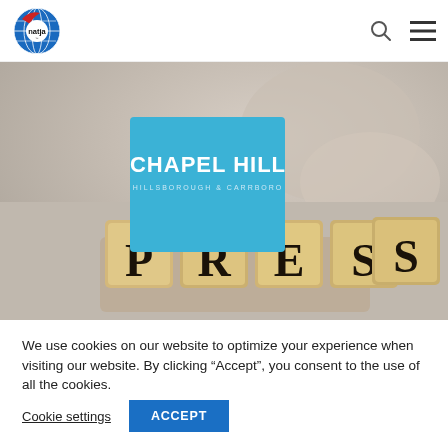natja logo and navigation icons
[Figure (photo): Hero image showing wooden letter dice spelling PRESS on a blurred background, with a blue Chapel Hill / Hillsborough & Carrboro logo tile overlaid on the left side of the image.]
We use cookies on our website to optimize your experience when visiting our website. By clicking “Accept”, you consent to the use of all the cookies.
Cookie settings   ACCEPT